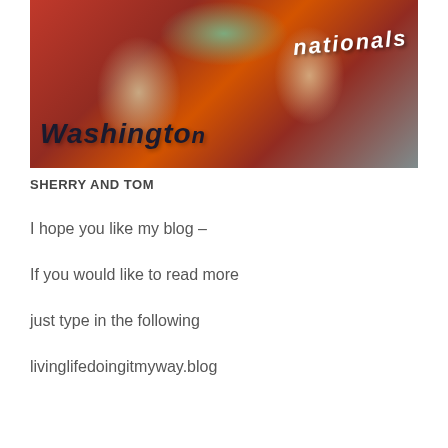[Figure (photo): Photo of two people (Sherry and Tom) wearing Washington Nationals red baseball shirts, outdoors]
SHERRY AND TOM
I hope you like my blog –
If you would like to read more
just type in the following
livinglifedoingitmyway.blog